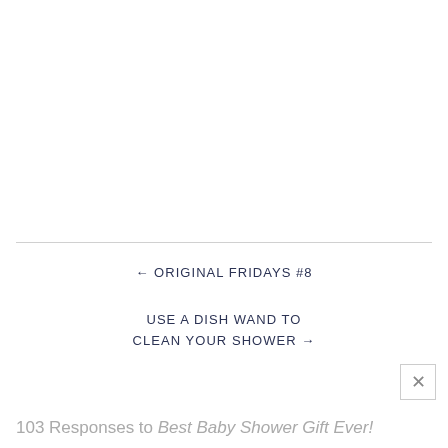← ORIGINAL FRIDAYS #8
USE A DISH WAND TO CLEAN YOUR SHOWER →
103 Responses to Best Baby Shower Gift Ever!